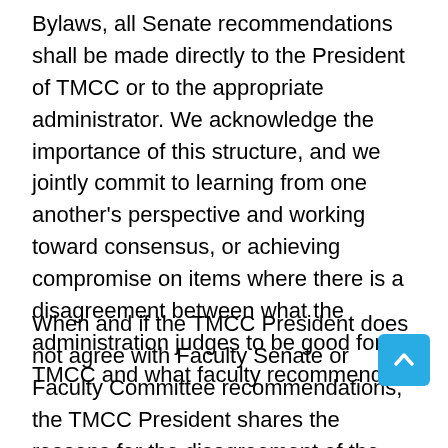Bylaws, all Senate recommendations shall be made directly to the President of TMCC or to the appropriate administrator. We acknowledge the importance of this structure, and we jointly commit to learning from one another's perspective and working toward consensus, or achieving compromise on items where there is a disagreement between what the administration judges to be good for TMCC and what faculty recommends.
When and if the TMCC President does not agree with Faculty Senate or Faculty Committee recommendations, the TMCC President shares the reasons for the disagreement of the recommendations with the Faculty Senate and